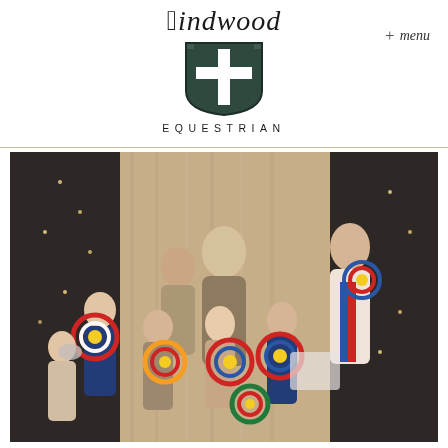Windwood Equestrian
+ menu
[Figure (logo): Windwood Equestrian logo with Gothic-style text 'Windwood' above a dark green heraldic shield containing a white cross, with 'EQUESTRIAN' in spaced capitals below]
[Figure (photo): Group photo of children and adults at an equestrian awards event, holding colorful rosette ribbons (red, blue, green, yellow) and trophies, posed in front of dark curtains with string lights]